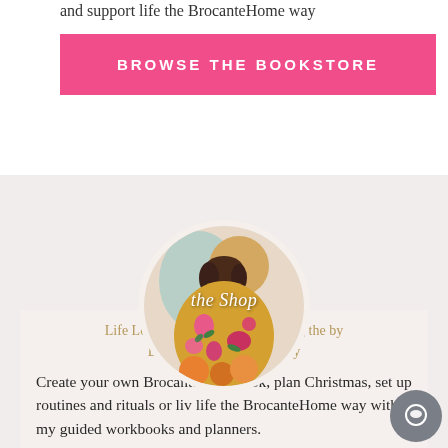and support life the BrocanteHome way
BROWSE THE BOOKSTORE
[Figure (illustration): Circular portrait illustration of a woman in a floral kimono with text overlay reading 'the Shop' in white italic script]
Life Love & Vintage Housekeeping the by BrocantePrintables on Etsy
Create your own Brocante Life Book, plan Christmas, set up routines and rituals or live life the BrocanteHome way with my guided workbooks and planners.